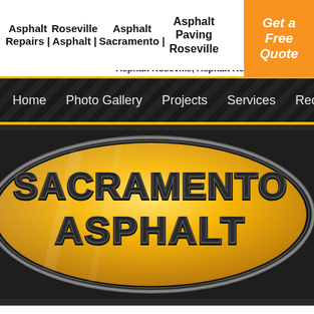Asphalt Repairs | Roseville Asphalt | Asphalt Sacramento | Asphalt Paving Roseville | Get a Free Quote
Asphalt Roseville, Asphalt Repairs Roseville
[Figure (screenshot): Dark textured navigation bar with menu items: Home, Photo Gallery, Projects, Services, Rec...]
[Figure (logo): Sacramento Asphalt company logo — gold/yellow oval with bold stylized text reading SACRAMENTO ASPHALT in dark metallic lettering]